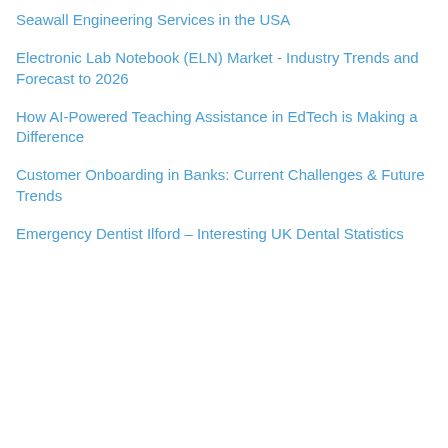Seawall Engineering Services in the USA
Electronic Lab Notebook (ELN) Market - Industry Trends and Forecast to 2026
How AI-Powered Teaching Assistance in EdTech is Making a Difference
Customer Onboarding in Banks: Current Challenges & Future Trends
Emergency Dentist Ilford – Interesting UK Dental Statistics